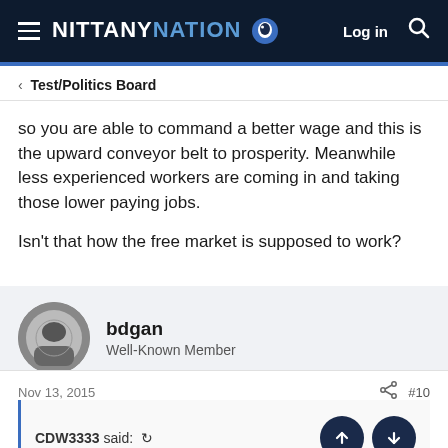NITTANY NATION — Log in [search]
< Test/Politics Board
so you are able to command a better wage and this is the upward conveyor belt to prosperity. Meanwhile less experienced workers are coming in and taking those lower paying jobs.

Isn't that how the free market is supposed to work?
bdgan
Well-Known Member
Nov 13, 2015   #10
CDW3333 said: ↺